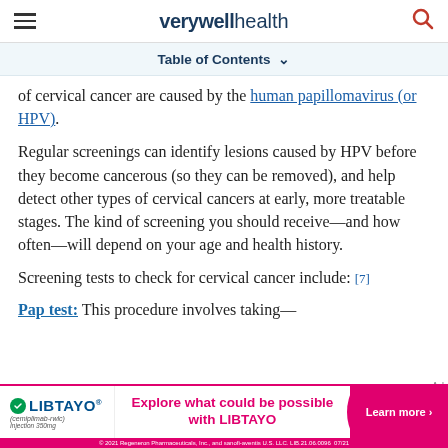verywell health
Table of Contents
of cervical cancer are caused by the human papillomavirus (or HPV).
Regular screenings can identify lesions caused by HPV before they become cancerous (so they can be removed), and help detect other types of cervical cancers at early, more treatable stages. The kind of screening you should receive—and how often—will depend on your age and health history.
Screening tests to check for cervical cancer include: [7]
Pap test: This procedure involves taking—
[Figure (screenshot): LIBTAYO advertisement banner: Explore what could be possible with LIBTAYO. Learn more.]